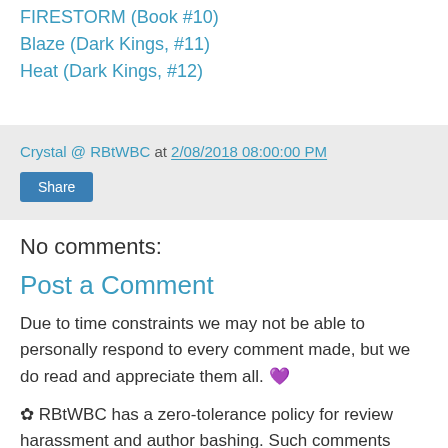FIRESTORM (Book #10)
Blaze (Dark Kings, #11)
Heat (Dark Kings, #12)
Crystal @ RBtWBC at 2/08/2018 08:00:00 PM
Share
No comments:
Post a Comment
Due to time constraints we may not be able to personally respond to every comment made, but we do read and appreciate them all. 🖤
✿ RBtWBC has a zero-tolerance policy for review harassment and author bashing. Such comments will be deleted at the the blog's discretion.